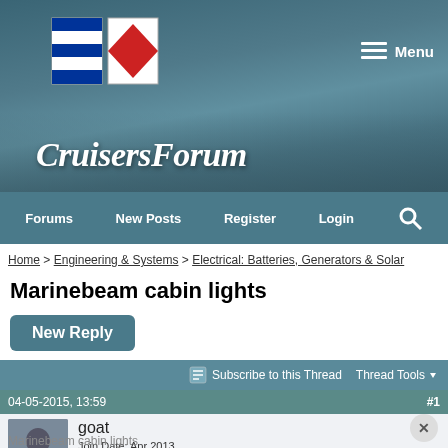[Figure (logo): CruisersForum logo with nautical signal flags (blue/white striped and red diamond on white) and italic script text 'CruisersForum']
Menu
Forums | New Posts | Register | Login | Search
Home > Engineering & Systems > Electrical: Batteries, Generators & Solar
Marinebeam cabin lights
New Reply
Subscribe to this Thread   Thread Tools
04-05-2015, 13:59   #1
goat
Join Date: Apr 2013
Location: Everywhere (Sea of Cortez right now)
Posts: 1.366
Marinebeam cabin lights